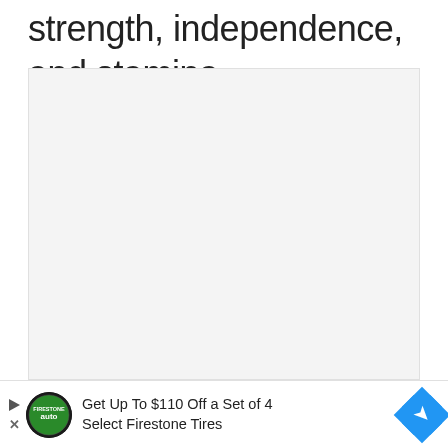strength, independence, and stamina.
[Figure (other): A large light gray rectangular placeholder image area]
[Figure (other): Advertisement banner: Get Up To $110 Off a Set of 4 Select Firestone Tires, with a Firestone auto logo and a blue diamond arrow icon]